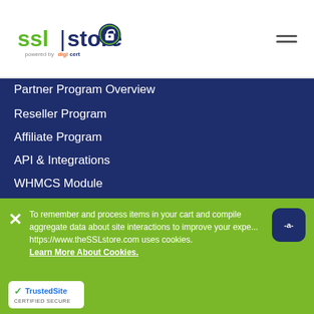SSLStore powered by DigiCert — navigation header
Partner Program Overview
Reseller Program
Affiliate Program
API & Integrations
WHMCS Module
AutoInstall SSL
Strategic Partnerships
Custom Integration
About Us
About Us
Blog
To remember and process items in your cart and compile aggregate data about site interactions to improve your experience, https://www.theSSLstore.com uses cookies. Learn More About Cookies.